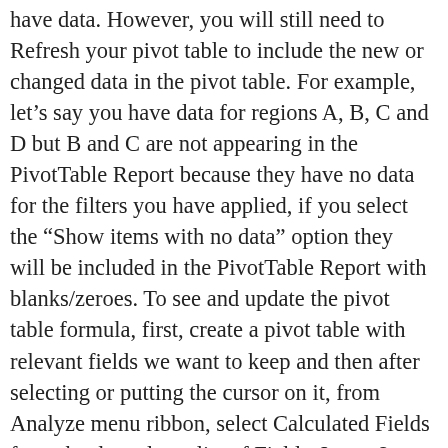have data. However, you will still need to Refresh your pivot table to include the new or changed data in the pivot table. For example, let’s say you have data for regions A, B, C and D but B and C are not appearing in the PivotTable Report because they have no data for the filters you have applied, if you select the “Show items with no data” option they will be included in the PivotTable Report with blanks/zeroes. To see and update the pivot table formula, first, create a pivot table with relevant fields we want to keep and then after selecting or putting the cursor on it, from Analyze menu ribbon, select Calculated Fields from the drop-down list of Fields, Items & Sets. Showing results for ... Pivot table not returning proper data Hi All, ... like InvoiceLineNo. Next, convert the original data sets and your new small table of sectors into a table. On the pivot table toolbar, this is an exclamation point. Repeat for all three tables. Figure 4 – Setting up the Pivot table. Thank you for sharing the information with us. If I forget (as I had in this case) to pull the lookup function into the newly added rows, my pivot table will not update the information for those brokers. Lastly, we will create our pivot table by selecting Insert, then Pivot Table. Inserting a pivot